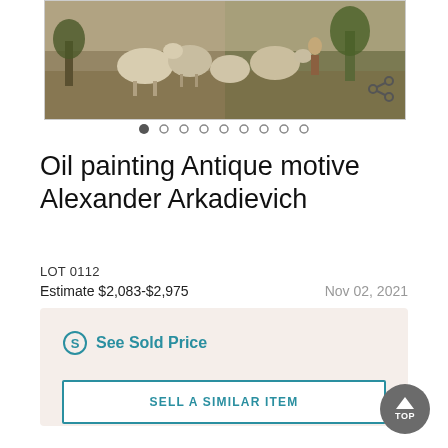[Figure (photo): Painting image showing sheep/animals in a pastoral antique scene with carousel navigation dots below]
Oil painting Antique motive Alexander Arkadievich
LOT 0112
Estimate $2,083-$2,975
Nov 02, 2021
See Sold Price
SELL A SIMILAR ITEM